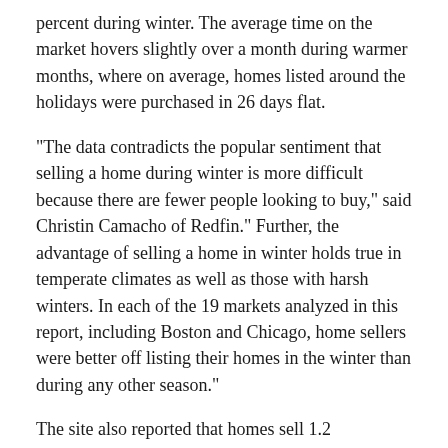percent during winter. The average time on the market hovers slightly over a month during warmer months, where on average, homes listed around the holidays were purchased in 26 days flat.
"The data contradicts the popular sentiment that selling a home during winter is more difficult because there are fewer people looking to buy," said Christin Camacho of Redfin." Further, the advantage of selling a home in winter holds true in temperate climates as well as those with harsh winters. In each of the 19 markets analyzed in this report, including Boston and Chicago, home sellers were better off listing their homes in the winter than during any other season."
The site also reported that homes sell 1.2 percentage points closer to the list price, which could be a nice holiday gift for sellers.